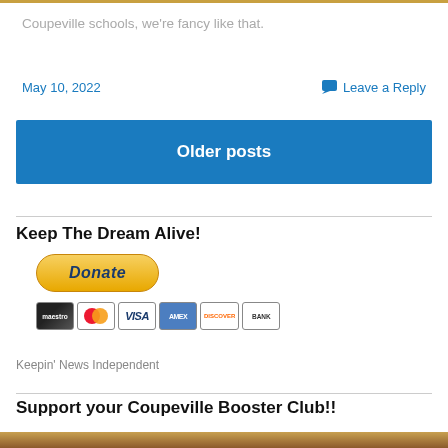Coupeville schools, we're fancy like that.
May 10, 2022
Leave a Reply
Older posts
Keep The Dream Alive!
[Figure (other): PayPal Donate button with payment card icons (Maestro, MasterCard, VISA, AmEx, Discover, Bank)]
Keepin' News Independent
Support your Coupeville Booster Club!!
[Figure (photo): Partial photo of Coupeville Booster Club banner or event]